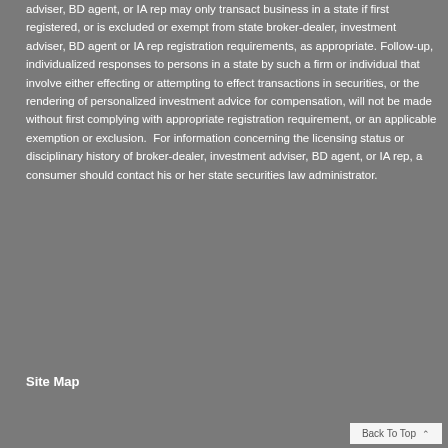adviser, BD agent, or IA rep may only transact business in a state if first registered, or is excluded or exempt from state broker-dealer, investment adviser, BD agent or IA rep registration requirements, as appropriate. Follow-up, individualized responses to persons in a state by such a firm or individual that involve either effecting or attempting to effect transactions in securities, or the rendering of personalized investment advice for compensation, will not be made without first complying with appropriate registration requirement, or an applicable exemption or exclusion. For information concerning the licensing status or disciplinary history of broker-dealer, investment adviser, BD agent, or IA rep, a consumer should contact his or her state securities law administrator.
Site Map
Back To Top